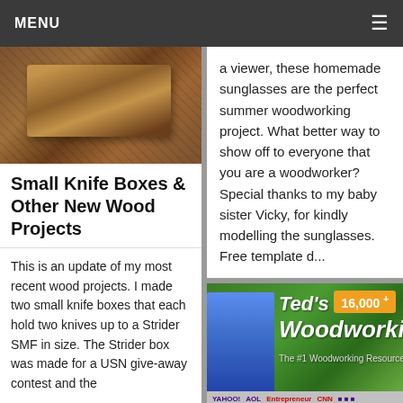MENU
[Figure (photo): Photo of small wooden knife boxes stacked on a textured surface]
Small Knife Boxes & Other New Wood Projects
This is an update of my most recent wood projects. I made two small knife boxes that each hold two knives up to a Strider SMF in size. The Strider box was made for a USN give-away contest and the
a viewer, these homemade sunglasses are the perfect summer woodworking project. What better way to show off to everyone that you are a woodworker? Special thanks to my baby sister Vicky, for kindly modelling the sunglasses. Free template d...
[Figure (screenshot): Advertisement banner for Ted's Woodworking with '16,000+' badge, a man in blue shirt, logos of Yahoo, AOL, Entrepreneur, CNN, and quote 'Get Instant Access To Over 16,000 Woodworking Projects and Plans!']
Amazing